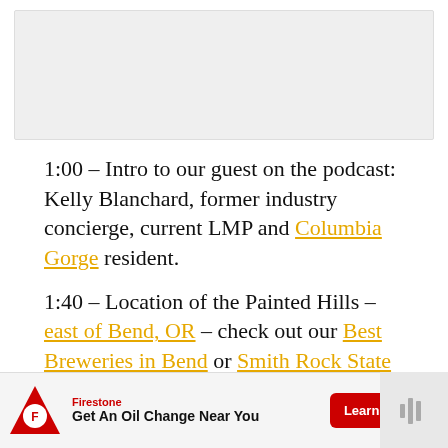[Figure (screenshot): Placeholder image area at top of page, light gray background]
1:00 – Intro to our guest on the podcast: Kelly Blanchard, former industry concierge, current LMP and Columbia Gorge resident.
1:40 – Location of the Painted Hills – east of Bend, OR – check out our Best Breweries in Bend or Smith Rock State Park
[Figure (map): Map showing Painted Hills area with labeled units: Clarno Unit, Painted (Hills), Sheep Rock Unit. Blue circles and photo bubble overlaid. 'What's Next' panel in top right showing Oregon's Painted Hills...]
[Figure (screenshot): Firestone advertisement banner: Get An Oil Change Near You, Learn More button]